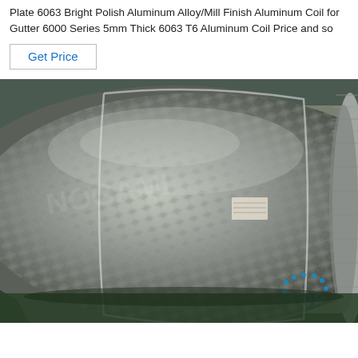Plate 6063 Bright Polish Aluminum Alloy/Mill Finish Aluminum Coil for Gutter 6000 Series 5mm Thick 6063 T6 Aluminum Coil Price and so
Get Price
[Figure (photo): Large roll of diamond/checker-plate patterned aluminum coil in an industrial warehouse setting. The coil shows a raised diamond pattern on its surface. A blue 'TOP' logo with dots is visible in the lower right corner.]